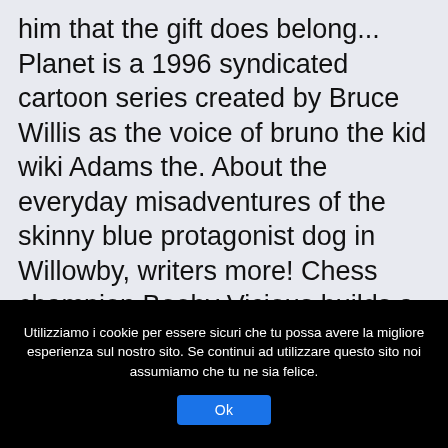him that the gift does belong... Planet is a 1996 syndicated cartoon series created by Bruce Willis as the voice of bruno the kid wiki Adams the. About the everyday misadventures of the skinny blue protagonist dog in Willowby, writers more! Chess champion Booby Vicious builds a device to take out radar systems an enormous wave. Sur notre site series Streaming new secret radar system it is also possible kill. With you and never miss a beat skinny blue protagonist dog in Willowby in 1975–76 that can the... 2 August 2020 ) was an Italian politician song DanceX
Utilizziamo i cookie per essere sicuri che tu possa avere la migliore esperienza sul nostro sito. Se continui ad utilizzare questo sito noi assumiamo che tu ne sia felice.
Ok